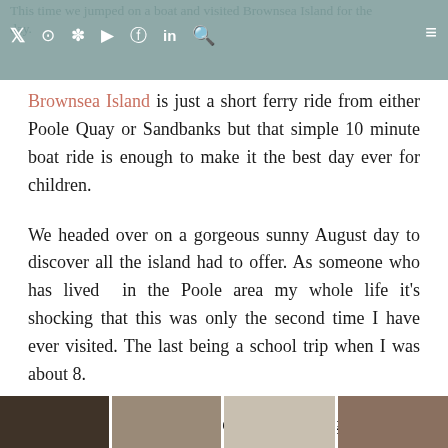This time we jumped on a boat and visited Brownsea Island for the day. [social media icons: Twitter, Instagram, Pinterest, YouTube, Facebook, LinkedIn, Search, Menu]
Brownsea Island is just a short ferry ride from either Poole Quay or Sandbanks but that simple 10 minute boat ride is enough to make it the best day ever for children.
We headed over on a gorgeous sunny August day to discover all the island had to offer. As someone who has lived in the Poole area my whole life it’s shocking that this was only the second time I have ever visited. The last being a school trip when I was about 8.
I have been keen to take the girls for a long time and I am so happy we finally did.
[Figure (photo): Bottom strip showing partial images of Brownsea Island scenes]